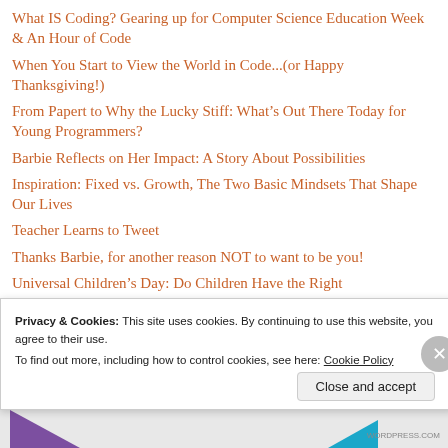What IS Coding? Gearing up for Computer Science Education Week & An Hour of Code
When You Start to View the World in Code...(or Happy Thanksgiving!)
From Papert to Why the Lucky Stiff: What’s Out There Today for Young Programmers?
Barbie Reflects on Her Impact: A Story About Possibilities
Inspiration: Fixed vs. Growth, The Two Basic Mindsets That Shape Our Lives
Teacher Learns to Tweet
Thanks Barbie, for another reason NOT to want to be you!
Universal Children’s Day: Do Children Have the Right
Privacy & Cookies: This site uses cookies. By continuing to use this website, you agree to their use.
To find out more, including how to control cookies, see here: Cookie Policy
Close and accept